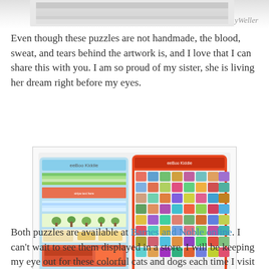[Figure (photo): Partial bottom edge of a puzzle box image with a watermark '@KathyWeller' in cursive at the top of the page.]
Even though these puzzles are not handmade, the blood, sweat, and tears behind the artwork is, and I love that I can share this with you. I am so proud of my sister, she is living her dream right before my eyes.
[Figure (photo): Two puzzle boxes side by side: left box has a colorful scene with strips of city/park imagery and '1000' pieces label; right box features colorful cartoon cats/owls pattern on an orange background also labeled '1000'. Watermark '@KathyWeller' in cursive at bottom right.]
Both puzzles are available at Barnes and Noble online. I can't wait to see them displayed in a store. I will be keeping my eye out for these colorful cats and dogs each time I visit